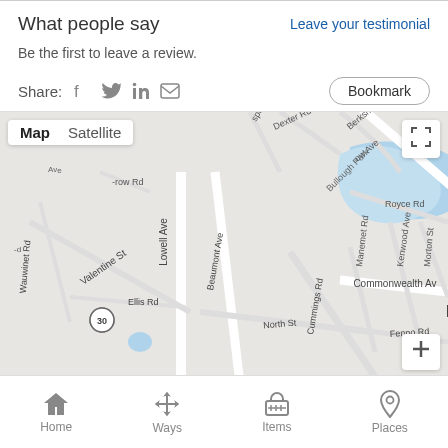What people say
Leave your testimonial
Be the first to leave a review.
Share:
[Figure (map): Google Map showing Newton area with a location pin marker. Roads visible include Lowell Ave, Beaumont Ave, Valentine St, North St, Cummings Rd, Walnut St, Commonwealth Ave, Fenno Rd, Manemet Rd, Kenwood Ave, Morton St, Dexter Rd, Berkshire Rd, Royce Rd, Ellis Rd, Wauwinet Rd. A blue water body (Bullough Park) is visible in the upper right area. Map/Satellite toggle buttons visible in upper left.]
Home   Ways   Items   Places